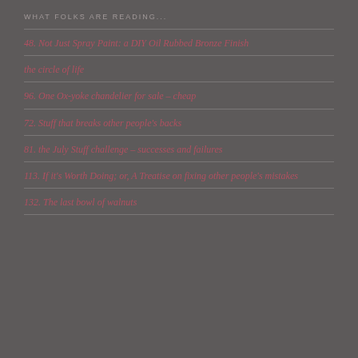WHAT FOLKS ARE READING...
48. Not Just Spray Paint: a DIY Oil Rubbed Bronze Finish
the circle of life
96. One Ox-yoke chandelier for sale – cheap
72. Stuff that breaks other people's backs
81. the July Stuff challenge – successes and failures
113. If it's Worth Doing; or, A Treatise on fixing other people's mistakes
132. The last bowl of walnuts